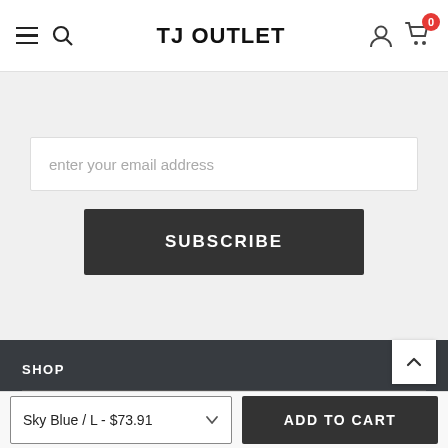TJ OUTLET
enter your email address
SUBSCRIBE
SHOP
INFORMATION
WAREHOUSE LOCATION
Sky Blue / L - $73.91
ADD TO CART